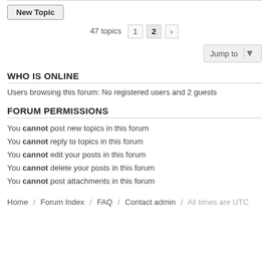New Topic
47 topics  1  2  >
Jump to
WHO IS ONLINE
Users browsing this forum: No registered users and 2 guests
FORUM PERMISSIONS
You cannot post new topics in this forum
You cannot reply to topics in this forum
You cannot edit your posts in this forum
You cannot delete your posts in this forum
You cannot post attachments in this forum
Home / Forum Index / FAQ / Contact admin / All times are UTC